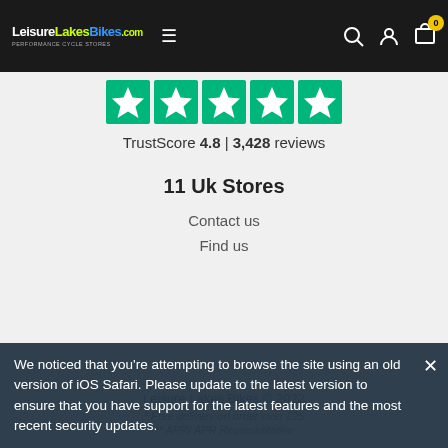LeisureLakesBikes.com navigation bar with hamburger menu, search, account, and cart icons
[Figure (other): Five Trustpilot green star rating boxes with white stars]
TrustScore 4.8 | 3,428 reviews
11 Uk Stores
Contact us
Find us
Leisure Lakes Bikes © 2022
* Free delivery on order over £25
** APR/ APR Representative
We noticed that you're attempting to browse the site using an old version of iOS Safari. Please update to the latest version to ensure that you have support for the latest features and the most recent security updates.